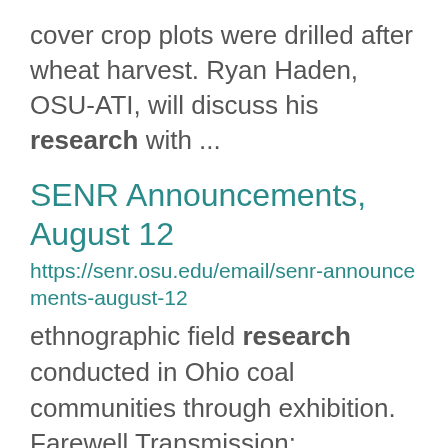cover crop plots were drilled after wheat harvest. Ryan Haden, OSU-ATI, will discuss his research with ...
SENR Announcements, August 12
https://senr.osu.edu/email/senr-announcements-august-12
ethnographic field research conducted in Ohio coal communities through exhibition. Farewell Transmission: ... ethnographic field research conducted in Ohio coal communities can be transformed and animated through ... Resources William W. Sharp Research Photographer, School of Environment and Natural Resources